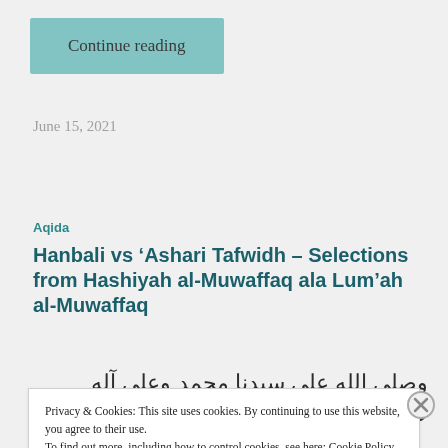Continue reading
June 15, 2021
Aqida
Hanbali vs ‘Ashari Tafwidh – Selections from Hashiyah al-Muwaffaq ala Lum’ah al-Muwaffaq
وصلى الله على سيدنا محمد وعلى آله وصحبه وسلم، ماب
Privacy & Cookies: This site uses cookies. By continuing to use this website, you agree to their use.
To find out more, including how to control cookies, see here: Cookie Policy
Close and accept